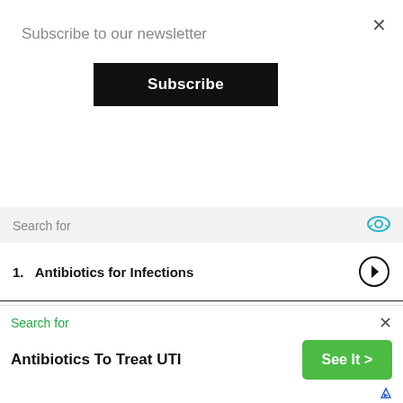Subscribe to our newsletter
Subscribe
Search for
1.  Antibiotics for Infections
2.  Treat a Urinary Tract Infection Naturally
3.  How to Get Rid of a Sinus Infection
4.  Best Natural Antibiotics
5.  Buy Antibiotics Online
Search for
Antibiotics To Treat UTI
See It >